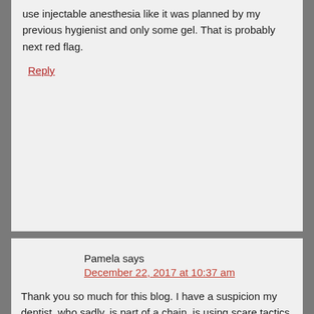use injectable anesthesia like it was planned by my previous hygienist and only some gel. That is probably next red flag.
Reply
Pamela says
December 22, 2017 at 10:37 am
Thank you so much for this blog. I have a suspicion my dentist, who sadly, is part of a chain, is using scare tactics on me. As an older woman who takes extraordinary care of her teeth: Sonicare, WaterPik, floss, proxabrushes, mouthwash, etc., every time I visit the dentist, he says I need Arestin in one 4mm pocket, fluoride